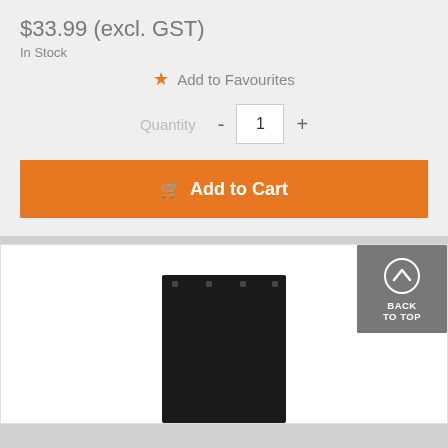$33.99 (excl. GST)
In Stock
Add to Favourites
Quantity  -  1  +
Add to Cart
[Figure (photo): Product image of a black rubber mud flap with mounting holes along the top edge, shown against a white background]
BACK TO TOP